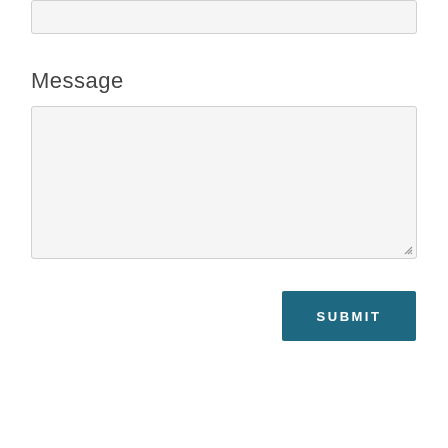[Figure (screenshot): Top portion of an input field, partially visible at the top of the page, with light grey background and border]
Message
[Figure (screenshot): Large textarea input box with light grey background, border, and resize handle in bottom-right corner]
[Figure (screenshot): SUBMIT button with dark teal background and white uppercase text]